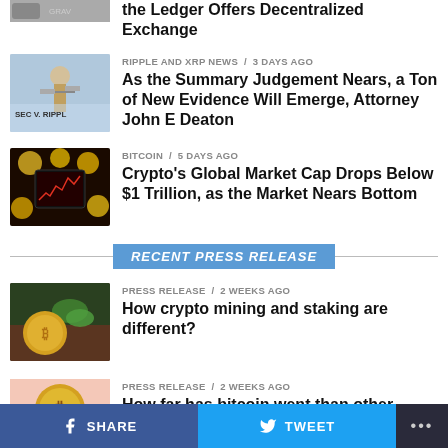[Figure (photo): Partial top thumbnail - gray card/credit card image]
the Ledger Offers Decentralized Exchange
[Figure (photo): SEC v. Ripple - lady justice statue image]
RIPPLE AND XRP NEWS / 3 days ago
As the Summary Judgement Nears, a Ton of New Evidence Will Emerge, Attorney John E Deaton
[Figure (photo): Bitcoin market chart on phone surrounded by coins]
BITCOIN / 5 days ago
Crypto's Global Market Cap Drops Below $1 Trillion, as the Market Nears Bottom
RECENT PRESS RELEASE
[Figure (photo): Bitcoin coin with plants/earth - mining image]
PRESS RELEASE / 2 weeks ago
How crypto mining and staking are different?
[Figure (photo): Bitcoin coin on pink background]
PRESS RELEASE / 2 weeks ago
How far has bitcoin went than other